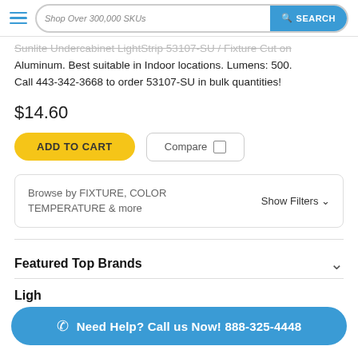Shop Over 300,000 SKUs | SEARCH
Sunlite Under Cabinet LightStrip 50 70... Aluminum. Best suitable in Indoor locations. Lumens: 500. Call 443-342-3668 to order 53107-SU in bulk quantities!
$14.60
ADD TO CART | Compare
Browse by FIXTURE, COLOR TEMPERATURE & more | Show Filters
Featured Top Brands
Ligh
Need Help? Call us Now! 888-325-4448